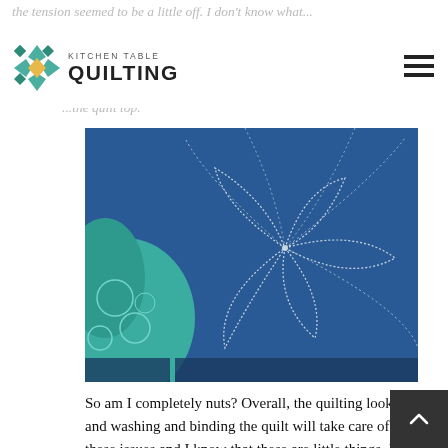the tension seemed to be a little off. I don't know what...
KITCHEN TABLE QUILTING
...m quilting, but I can see the knot...
...the quilt top.
[Figure (photo): Close-up photo of blue denim quilt with petal/fan quilting pattern stitched in light thread, with teal floral patterned fabric visible in the lower left corner.]
So am I completely nuts? Overall, the quilting looks okay and washing and binding the quilt will take care of most of these issues and I know that these are little things. I think the thing that that bothers me the mo... is that I worked so hard to be careful and precise with